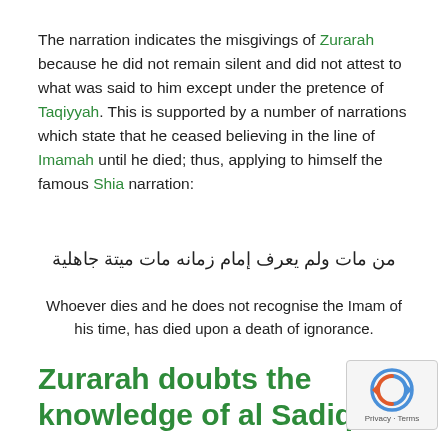The narration indicates the misgivings of Zurarah because he did not remain silent and did not attest to what was said to him except under the pretence of Taqiyyah. This is supported by a number of narrations which state that he ceased believing in the line of Imamah until he died; thus, applying to himself the famous Shia narration:
من مات ولم يعرف إمام زمانه مات ميتة جاهلية
Whoever dies and he does not recognise the Imam of his time, has died upon a death of ignorance.
Zurarah doubts the knowledge of al Sadiq